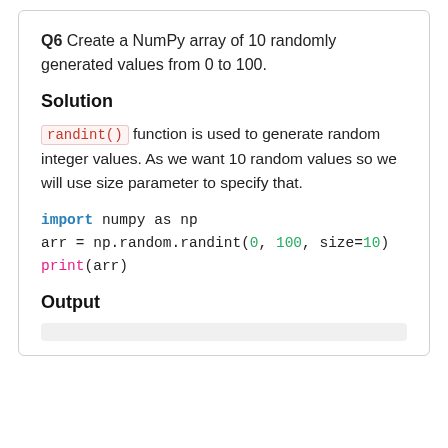Q6 Create a NumPy array of 10 randomly generated values from 0 to 100.
Solution
randint() function is used to generate random integer values. As we want 10 random values so we will use size parameter to specify that.
import numpy as np
arr = np.random.randint(0, 100, size=10)
print(arr)
Output